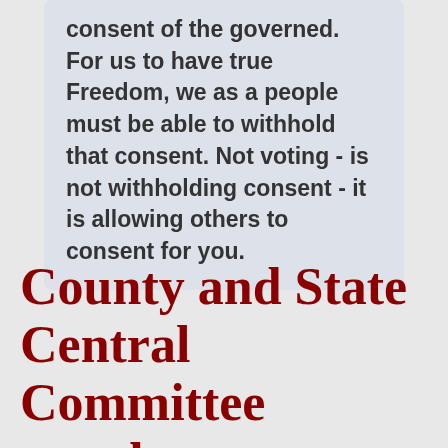consent of the governed. For us to have true Freedom, we as a people must be able to withhold that consent. Not voting - is not withholding consent - it is allowing others to consent for you.
County and State Central Committee members must make their contact information...